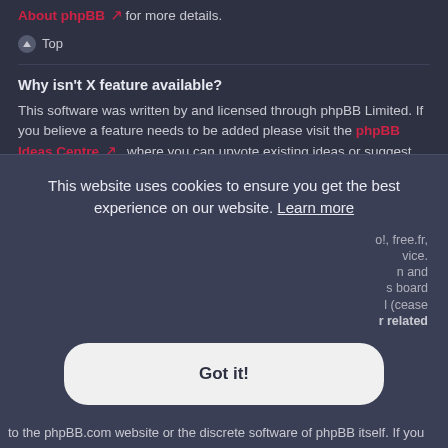About phpBB for more details.
Top
Why isn't X feature available?
This software was written by and licensed through phpBB Limited. If you believe a feature needs to be added please visit the phpBB Ideas Centre, where you can upvote existing ideas or suggest new features.
Top
Who do I contact about abusive and/or legal matters related to this board?
Any of the administrators listed on the "The team" page should be an appropriate point of contact for your complaints. If this still has no response then you should contact the owner of the domain (do a whois lookup) or, if this is running on a free service (e.g. Yahoo!, free.fr, f2s.com, etc.), the management or abuse department of that service. Please note that the phpBB Limited has absolutely no jurisdiction and cannot in any way be held liable over how, where or by whom this board is used. Do not contact the phpBB Limited in relation to any legal (cease and desist, liable, defamatory comment, etc.) matter not directly related to the phpBB.com website or the discrete software of phpBB itself. If you
This website uses cookies to ensure you get the best experience on our website. Learn more
Got it!